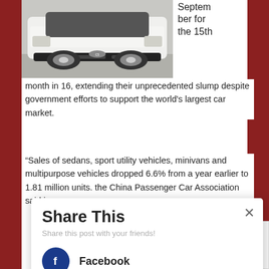[Figure (photo): Front view of a white SUV/crossover vehicle (appears to be a Citroen) parked on a light gray surface]
September for the 15th month in 16, extending their unprecedented slump despite government efforts to support the world's largest car market.
“Sales of sedans, sport utility vehicles, minivans and multipurpose vehicles dropped 6.6% from a year earlier to 1.81 million units. the China Passenger Car Association said in a
Share This
Share this post with your friends!
Facebook
Twitter